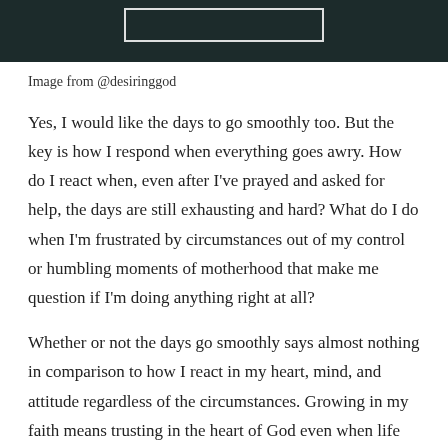[Figure (photo): Dark photographic image with a white rectangular border overlay, partially visible at top of page.]
Image from @desiringgod
Yes, I would like the days to go smoothly too. But the key is how I respond when everything goes awry. How do I react when, even after I’ve prayed and asked for help, the days are still exhausting and hard? What do I do when I’m frustrated by circumstances out of my control or humbling moments of motherhood that make me question if I’m doing anything right at all?
Whether or not the days go smoothly says almost nothing in comparison to how I react in my heart, mind, and attitude regardless of the circumstances. Growing in my faith means trusting in the heart of God even when life feels like a brick wall on every side. Is